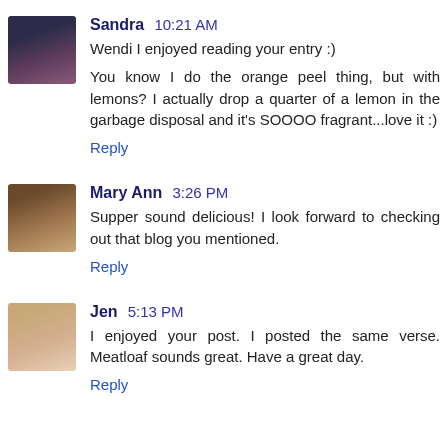Sandra 10:21 AM
Wendi I enjoyed reading your entry :)

You know I do the orange peel thing, but with lemons? I actually drop a quarter of a lemon in the garbage disposal and it's SOOOO fragrant...love it :)

Reply
Mary Ann 3:26 PM
Supper sound delicious! I look forward to checking out that blog you mentioned.

Reply
Jen 5:13 PM
I enjoyed your post. I posted the same verse. Meatloaf sounds great. Have a great day.

Reply